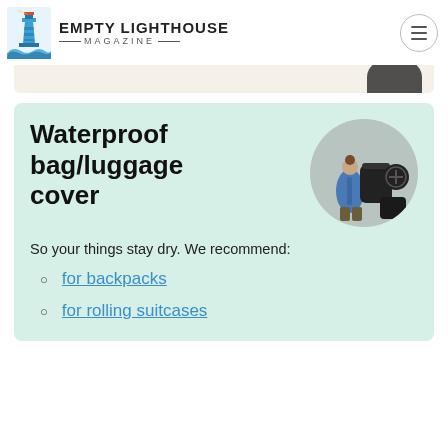EMPTY LIGHTHOUSE MAGAZINE
[Figure (illustration): Beige strip with partial product image at top right]
Waterproof bag/luggage cover
[Figure (photo): Circular photo of person wearing blue jacket with large black backpack rain cover, and black luggage cover pieces]
So your things stay dry. We recommend:
for backpacks
for rolling suitcases